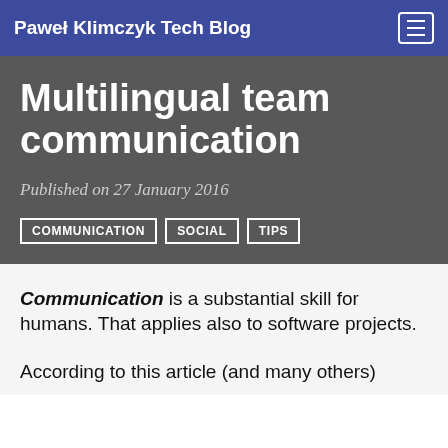Paweł Klimczyk Tech Blog
Multilingual team communication
Published on 27 January 2016
COMMUNICATION
SOCIAL
TIPS
Communication is a substantial skill for humans. That applies also to software projects.
According to this article (and many others)